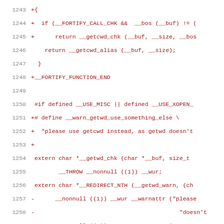Code diff showing lines 1243-1263 of a C header file with fortify/getcwd changes
1243  +{
1244  +  if (__FORTIFY_CALL_CHK && __bos (__buf) != (
1245  +      return __getcwd_chk (__buf, __size, __bos
1246      return __getcwd_alias (__buf, __size);
1247      }
1248  +__FORTIFY_FUNCTION_END
1249
1250   #if defined __USE_MISC || defined __USE_XOPEN_
1251  +# define __warn_getwd_use_something_else \
1252  +  "please use getcwd instead, as getwd doesn't
1253  +
1254   extern char *__getwd_chk (char *__buf, size_t
1255          __THROW __nonnull ((1)) __wur;
1256   extern char *__REDIRECT_NTH (__getwd_warn, (ch
1257  -      __nonnull ((1)) __wur __warnattr ("please
1258  -                                          "doesn't
1259  +      __nonnull ((1)) __wur __warnattr (__warn_
1260
1261  -__fortify_function __nonnull ((1)) __attribute
1262  -__NTH (getwd (char *__buf))
1263  +extern char *__REDIRECT (__getwd_alias, (char